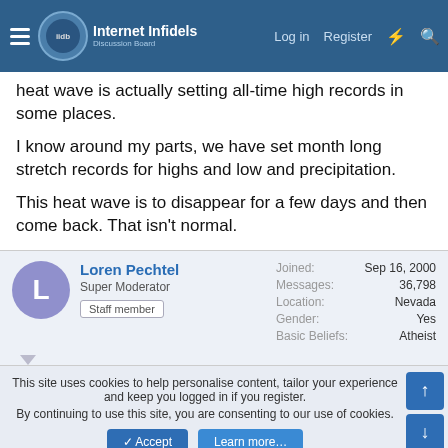Internet Infidels — Log in | Register
heat wave is actually setting all-time high records in some places.
I know around my parts, we have set month long stretch records for highs and low and precipitation.
This heat wave is to disappear for a few days and then come back. That isn't normal.
Loren Pechtel — Super Moderator — Staff member — Joined: Sep 16, 2000 — Messages: 36,798 — Location: Nevada — Gender: Yes — Basic Beliefs: Atheist
This site uses cookies to help personalise content, tailor your experience and keep you logged in if you register. By continuing to use this site, you are consenting to our use of cookies.